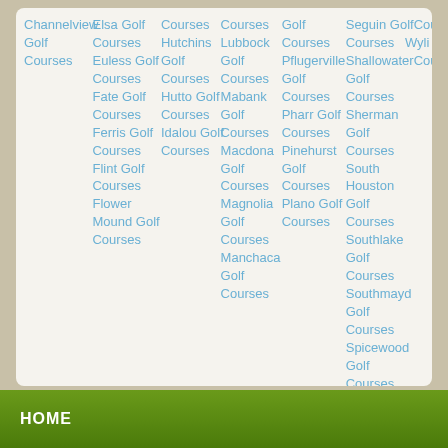Channelview Golf Courses
Elsa Golf Courses
Euless Golf Courses
Fate Golf Courses
Ferris Golf Courses
Flint Golf Courses
Flower Mound Golf Courses
Courses Hutchins Golf Courses
Hutto Golf Courses
Idalou Golf Courses
Courses Lubbock Golf Courses
Mabank Golf Courses
Macdona Golf Courses
Magnolia Golf Courses
Manchaca Golf Courses
Golf Courses
Pflugerville Golf Courses
Pharr Golf Courses
Pinehurst Golf Courses
Plano Golf Courses
Seguin Golf Courses
Wylie
Shallowater Golf Courses
Sherman Golf Courses
South Houston Golf Courses
Southlake Golf Courses
Southmayd Golf Courses
Spicewood Golf Courses
HOME